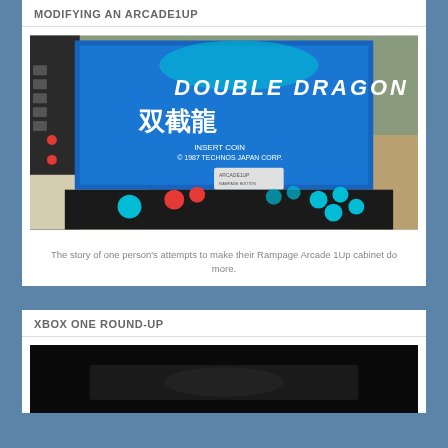MODIFYING AN ARCADE1UP
[Figure (photo): Arcade1Up cabinet showing a Double Dragon game screen with colorful joystick and buttons (red and cyan) on a black control panel]
The story of one person's attempts to make their Rampage Arcade1Up cabinet do more.
XBOX ONE ROUND-UP
[Figure (photo): Partial view of Xbox One related image, dark/black background, partially cut off at bottom of page]